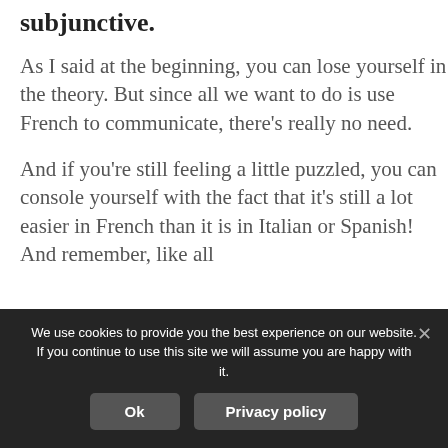subjunctive.
As I said at the beginning, you can lose yourself in the theory. But since all we want to do is use French to communicate, there’s really no need.
And if you’re still feeling a little puzzled, you can console yourself with the fact that it’s still a lot easier in French than it is in Italian or Spanish! And remember, like all
We use cookies to provide you the best experience on our website. If you continue to use this site we will assume you are happy with it.
Ok
Privacy policy